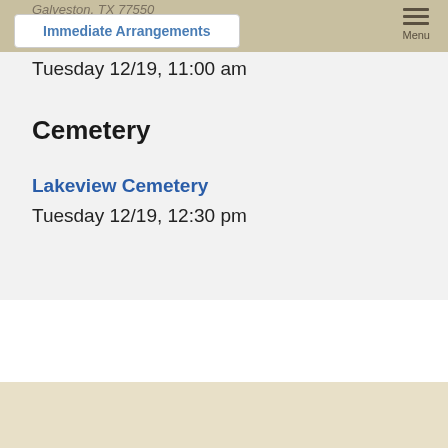Galveston, TX 77550
Immediate Arrangements
Tuesday 12/19, 11:00 am
Cemetery
Lakeview Cemetery
Tuesday 12/19, 12:30 pm
[Figure (logo): Decorative monogram letter M logo in a rectangular border with ornate flourishes]